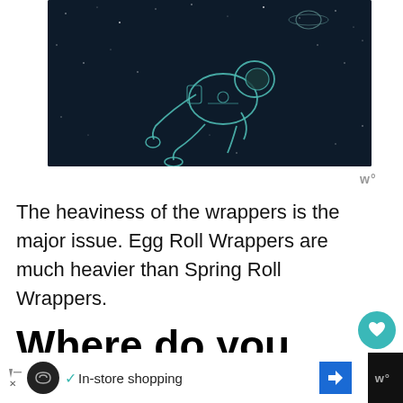[Figure (illustration): Dark space illustration showing an astronaut in a spacesuit floating in outer space with stars, planet rings visible in background. Line art style on dark navy background.]
The heaviness of the wrappers is the major issue. Egg Roll Wrappers are much heavier than Spring Roll Wrappers.
Where do you get spring roll
In-store shopping